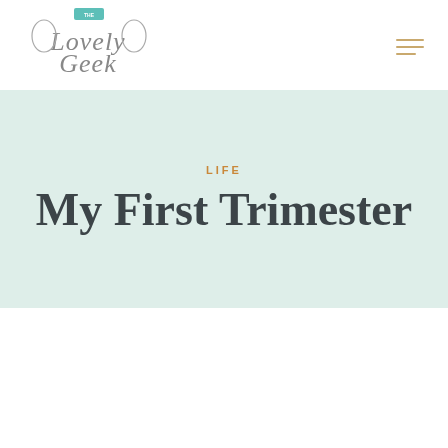[Figure (logo): The Lovely Geek blog logo with decorative script text and teal banner element]
LIFE
My First Trimester